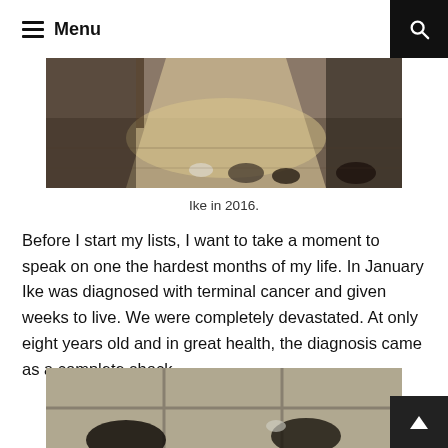Menu
[Figure (photo): Photo of a cat or dog lying on a wooden floor near a doorway with light streaming in, feet/paws visible. Ike in 2016.]
Ike in 2016.
Before I start my lists, I want to take a moment to speak on one the hardest months of my life. In January Ike was diagnosed with terminal cancer and given weeks to live. We were completely devastated. At only eight years old and in great health, the diagnosis came as a complete shock.
[Figure (photo): Photo of a cat or animal on a tiled floor, partially visible at the bottom of the page.]